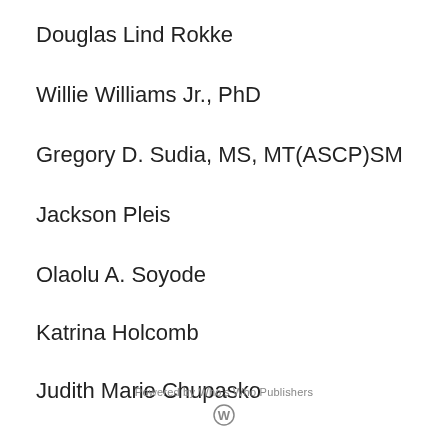Douglas Lind Rokke
Willie Williams Jr., PhD
Gregory D. Sudia, MS, MT(ASCP)SM
Jackson Pleis
Olaolu A. Soyode
Katrina Holcomb
Judith Marie Chupasko
Powered by Who's Who Publishers